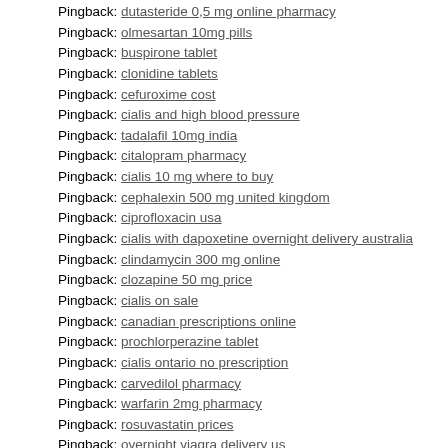Pingback: dutasteride 0,5 mg online pharmacy
Pingback: olmesartan 10mg pills
Pingback: buspirone tablet
Pingback: clonidine tablets
Pingback: cefuroxime cost
Pingback: cialis and high blood pressure
Pingback: tadalafil 10mg india
Pingback: citalopram pharmacy
Pingback: cialis 10 mg where to buy
Pingback: cephalexin 500 mg united kingdom
Pingback: ciprofloxacin usa
Pingback: cialis with dapoxetine overnight delivery australia
Pingback: clindamycin 300 mg online
Pingback: clozapine 50 mg price
Pingback: cialis on sale
Pingback: canadian prescriptions online
Pingback: prochlorperazine tablet
Pingback: cialis ontario no prescription
Pingback: carvedilol pharmacy
Pingback: warfarin 2mg pharmacy
Pingback: rosuvastatin prices
Pingback: overnight viagra delivery us
Pingback: cialis made in the usa
Pingback: divalproex 250mg uk
Pingback: trazodone without a prescription
Pingback: tolterodine no prescription
Pingback: acetazolamide pharmacy